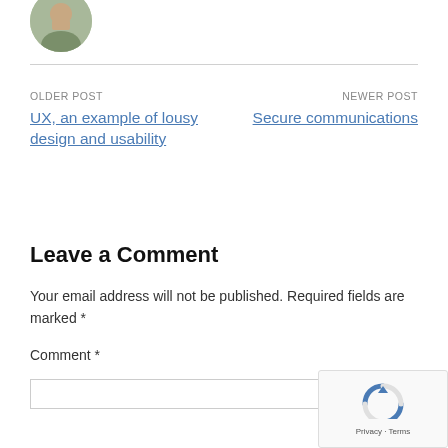[Figure (photo): Circular avatar photo of a person]
OLDER POST
UX, an example of lousy design and usability
NEWER POST
Secure communications
Leave a Comment
Your email address will not be published. Required fields are marked *
Comment *
[Figure (logo): reCAPTCHA badge with Privacy and Terms links]